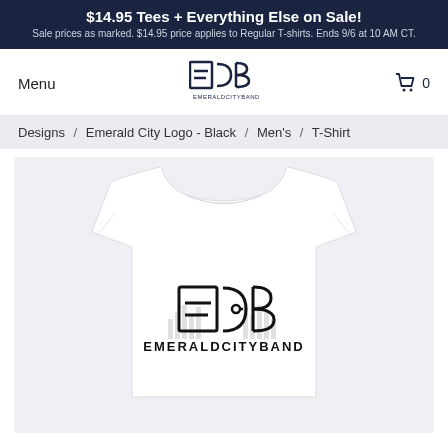$14.95 Tees + Everything Else on Sale! Sale prices as marked. $14.95 price applies to Regular T-shirts. Ends 9/6 at 10 AM CT.
Menu
[Figure (logo): Emerald City Band logo — ECB letters with city skyline silhouette and text EMERALDCITYBAND]
0
Designs / Emerald City Logo - Black / Men's / T-Shirt
[Figure (photo): White t-shirt with Emerald City Band logo printed on the front — ECB letters with city equalizer graphic and EMERALDCITYBAND text below]